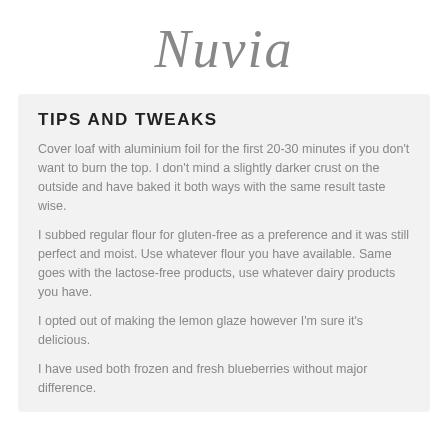Nuvia
TIPS AND TWEAKS
Cover loaf with aluminium foil for the first 20-30 minutes if you don't want to burn the top. I don't mind a slightly darker crust on the outside and have baked it both ways with the same result taste wise.
I subbed regular flour for gluten-free as a preference and it was still perfect and moist. Use whatever flour you have available. Same goes with the lactose-free products, use whatever dairy products you have.
I opted out of making the lemon glaze however I'm sure it's delicious.
I have used both frozen and fresh blueberries without major difference.